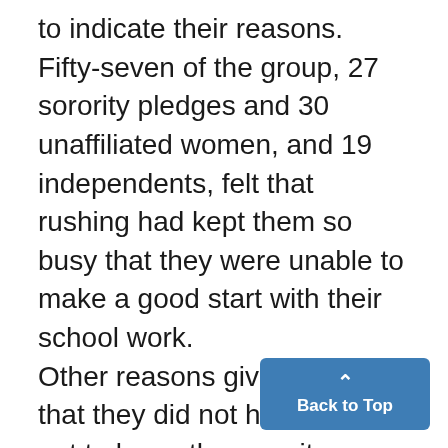to indicate their reasons. Fifty-seven of the group, 27 sorority pledges and 30 unaffiliated women, and 19 independents, felt that rushing had kept them so busy that they were unable to make a good start with their school work. Other reasons given were that they did not have time to get to know the sorority women well enough under the present system, that rushing was "all too new and confusing," that it was "too exhausting," and that it was "too hurried." Sever...